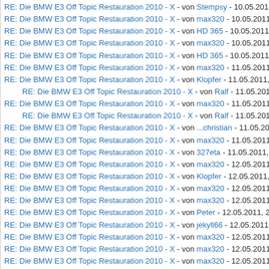RE: Die BMW E3 Off Topic Restauration 2010 - X - von Stempsy - 10.05.201
RE: Die BMW E3 Off Topic Restauration 2010 - X - von max320 - 10.05.2011
RE: Die BMW E3 Off Topic Restauration 2010 - X - von HD 365 - 10.05.2011
RE: Die BMW E3 Off Topic Restauration 2010 - X - von max320 - 10.05.2011
RE: Die BMW E3 Off Topic Restauration 2010 - X - von HD 365 - 10.05.2011
RE: Die BMW E3 Off Topic Restauration 2010 - X - von max320 - 11.05.2011
RE: Die BMW E3 Off Topic Restauration 2010 - X - von Klopfer - 11.05.2011,
RE: Die BMW E3 Off Topic Restauration 2010 - X - von Ralf - 11.05.2011,
RE: Die BMW E3 Off Topic Restauration 2010 - X - von max320 - 11.05.2011
RE: Die BMW E3 Off Topic Restauration 2010 - X - von Ralf - 11.05.2011,
RE: Die BMW E3 Off Topic Restauration 2010 - X - von ...christian - 11.05.20
RE: Die BMW E3 Off Topic Restauration 2010 - X - von max320 - 11.05.2011
RE: Die BMW E3 Off Topic Restauration 2010 - X - von 327eta - 11.05.2011,
RE: Die BMW E3 Off Topic Restauration 2010 - X - von max320 - 12.05.2011
RE: Die BMW E3 Off Topic Restauration 2010 - X - von Klopfer - 12.05.2011,
RE: Die BMW E3 Off Topic Restauration 2010 - X - von max320 - 12.05.2011
RE: Die BMW E3 Off Topic Restauration 2010 - X - von max320 - 12.05.2011
RE: Die BMW E3 Off Topic Restauration 2010 - X - von Peter - 12.05.2011, 2
RE: Die BMW E3 Off Topic Restauration 2010 - X - von jekyll66 - 12.05.2011
RE: Die BMW E3 Off Topic Restauration 2010 - X - von max320 - 12.05.2011
RE: Die BMW E3 Off Topic Restauration 2010 - X - von max320 - 12.05.2011
RE: Die BMW E3 Off Topic Restauration 2010 - X - von max320 - 12.05.2011
RE: Die BMW E3 Off Topic Restauration 2010 - X - von jekyll66 - 12.05.2011
RE: Die BMW E3 Off Topic Restauration 2010 - X - von asc - 12.05.2011, 23:
RE: Die BMW E3 Off Topic Restauration 2010 - X - von Holgi 02 E30 - 12.05.